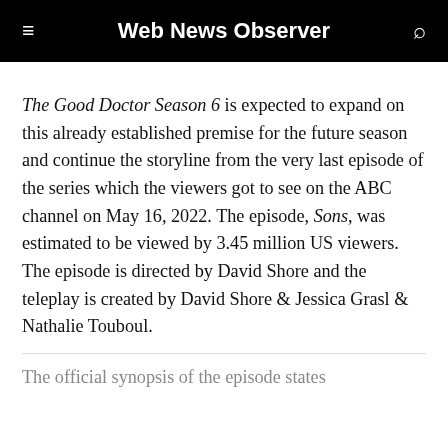Web News Observer
The Good Doctor Season 6 is expected to expand on this already established premise for the future season and continue the storyline from the very last episode of the series which the viewers got to see on the ABC channel on May 16, 2022. The episode, Sons, was estimated to be viewed by 3.45 million US viewers. The episode is directed by David Shore and the teleplay is created by David Shore & Jessica Grasl & Nathalie Touboul.
The official synopsis of the episode states